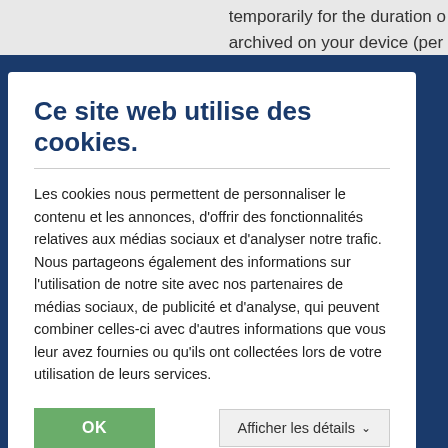temporarily for the duration o
archived on your device (per
Ce site web utilise des cookies.
Les cookies nous permettent de personnaliser le contenu et les annonces, d'offrir des fonctionnalités relatives aux médias sociaux et d'analyser notre trafic. Nous partageons également des informations sur l'utilisation de notre site avec nos partenaires de médias sociaux, de publicité et d'analyse, qui peuvent combiner celles-ci avec d'autres informations que vous leur avez fournies ou qu'ils ont collectées lors de votre utilisation de leurs services.
OK
Afficher les détails
the analysis of user patterns
Cookies, which are required
transactions, or for the provis
shopping cart function) or tho